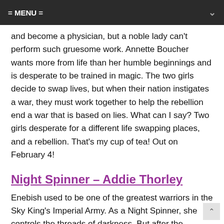= MENU =
and become a physician, but a noble lady can't perform such gruesome work. Annette Boucher wants more from life than her humble beginnings and is desperate to be trained in magic. The two girls decide to swap lives, but when their nation instigates a war, they must work together to help the rebellion end a war that is based on lies. What can I say? Two girls desperate for a different life swapping places, and a rebellion. That's my cup of tea! Out on February 4!
Night Spinner – Addie Thorley
Enebish used to be one of the greatest warriors in the Sky King's Imperial Army. As a Night Spinner, she controls the threads of darkness. But after the massacre at Nariin, she is labeled a monster and a murderer, and is banished to a monastery. When her adoptive sister, Ghoa, returns from the war with a tantalizing offer – capture the notorious criminal Temujin and your crimes